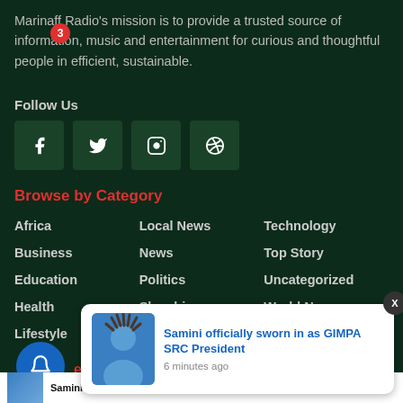Marinaff Radio's mission is to provide a trusted source of information, music and entertainment for curious and thoughtful people in efficient, sustainable.
Follow Us
[Figure (infographic): Four social media icon buttons: Facebook, Twitter, Instagram, Dribbble on dark green background]
Browse by Category
Africa
Local News
Technology
Business
News
Top Story
Education
Politics
Uncategorized
Health
Showbiz
World News
Lifestyle
Sports
Recent News
[Figure (infographic): Notification popup showing Samini officially sworn in as GIMPA SRC President, 6 minutes ago, with a photo of a man with dreadlocks]
Samini officially sworn in as GIMPA SRC President